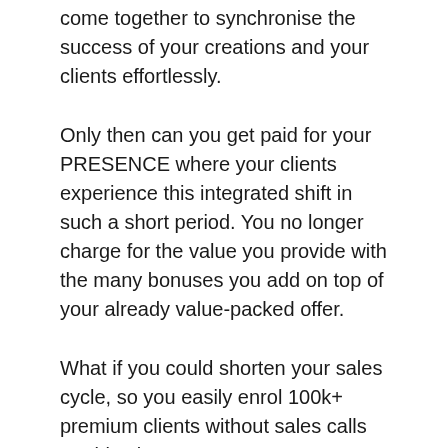come together to synchronise the success of your creations and your clients effortlessly.
Only then can you get paid for your PRESENCE where your clients experience this integrated shift in such a short period. You no longer charge for the value you provide with the many bonuses you add on top of your already value-packed offer.
What if you could shorten your sales cycle, so you easily enrol 100k+ premium clients without sales calls or objections?
Sounds incredible, right?